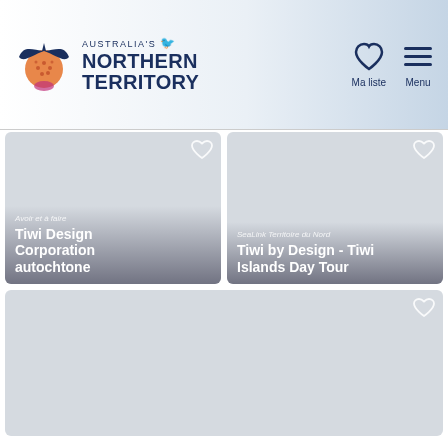[Figure (screenshot): Australia's Northern Territory tourism website header with logo (sun/bird motif), 'AUSTRALIA'S NORTHERN TERRITORY' text, heart 'Ma liste' icon, and hamburger 'Menu' icon]
[Figure (photo): Card image placeholder (grey) for 'Avoir et à faire / Tiwi Design Corporation autochtone' with heart icon]
[Figure (photo): Card image placeholder (grey) for 'SeaLink Territoire du Nord / Tiwi by Design - Tiwi Islands Day Tour' with heart icon]
[Figure (photo): Large card image placeholder (grey) with heart icon, no title text visible]